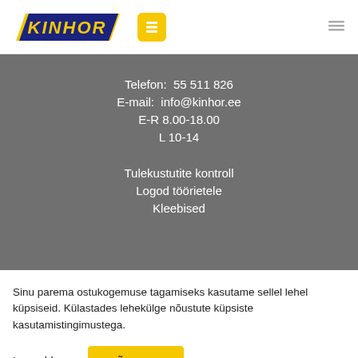KINHOR logo, icon button, menu icon
Telefon: 55 511 826
E-mail: info@kinhor.ee
E-R 8.00-18.00
L 10-14
Tulekustutite kontroll
Logod töörietele
Kleebised
Sinu parema ostukogemuse tagamiseks kasutame sellel lehel küpsiseid. Külastades lehekülge nõustute küpsiste kasutamistingimustega.
Loe rohkem
NÕUSTUN